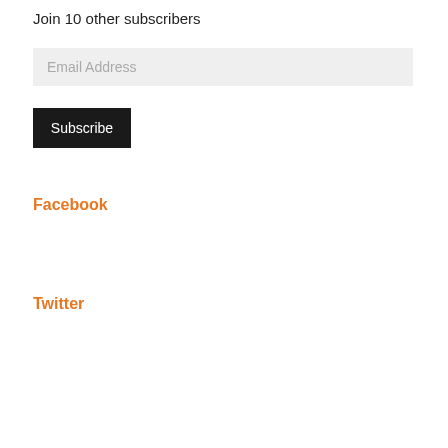Join 10 other subscribers
Email Address
Subscribe
Facebook
Twitter